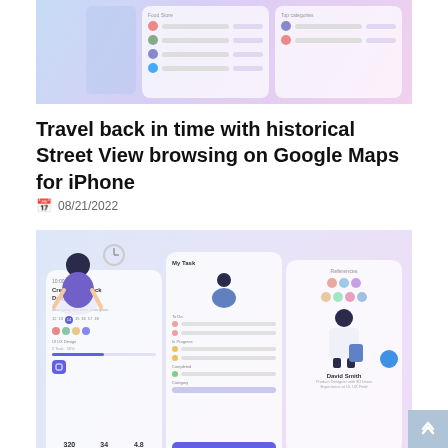[Figure (screenshot): App store or finance app UI screenshot with a blue-to-pink gradient background showing mock mobile app screens with lists and categories]
Travel back in time with historical Street View browsing on Google Maps for iPhone
08/21/2022
[Figure (screenshot): Mobile app UI design showcase with light blue-purple gradient background showing multiple app screens including task management and profile screens with illustrated characters]